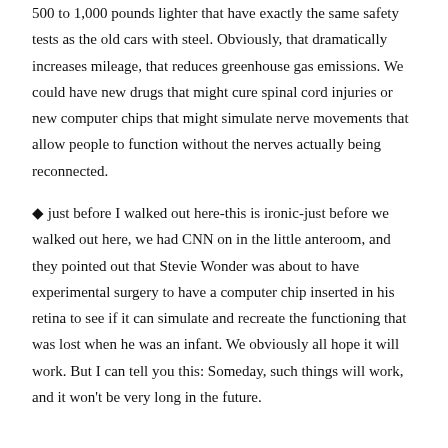500 to 1,000 pounds lighter that have exactly the same safety tests as the old cars with steel. Obviously, that dramatically increases mileage, that reduces greenhouse gas emissions. We could have new drugs that might cure spinal cord injuries or new computer chips that might simulate nerve movements that allow people to function without the nerves actually being reconnected.
◆ just before I walked out here-this is ironic-just before we walked out here, we had CNN on in the little anteroom, and they pointed out that Stevie Wonder was about to have experimental surgery to have a computer chip inserted in his retina to see if it can simulate and recreate the functioning that was lost when he was an infant. We obviously all hope it will work. But I can tell you this: Someday, such things will work, and it won't be very long in the future.